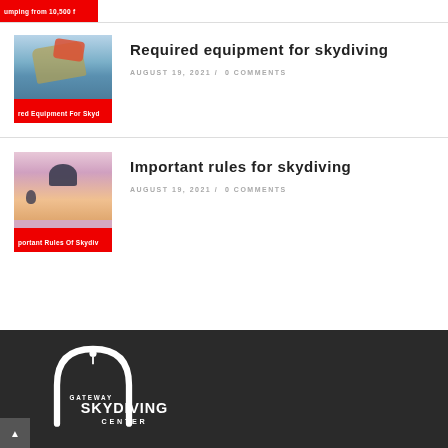[Figure (photo): Partial view of skydiver thumbnail with red label bar at bottom cut off, showing 'umping from 10,500 f']
[Figure (photo): Skydiver in yellow helmet with red gear flying, blue sky background. Red label reads 'red Equipment For Skyd']
Required equipment for skydiving
AUGUST 19, 2021 / 0 COMMENTS
[Figure (photo): Two skydivers under parachute in orange/pink sky. Red label reads 'portant Rules Of Skydiv']
Important rules for skydiving
AUGUST 19, 2021 / 0 COMMENTS
[Figure (logo): Gateway Skydiving Center logo in white on dark background, arch shape above text]